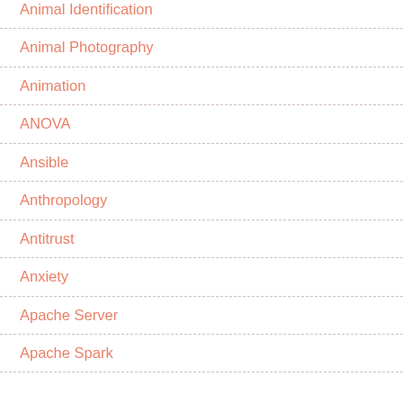Animal Identification
Animal Photography
Animation
ANOVA
Ansible
Anthropology
Antitrust
Anxiety
Apache Server
Apache Spark